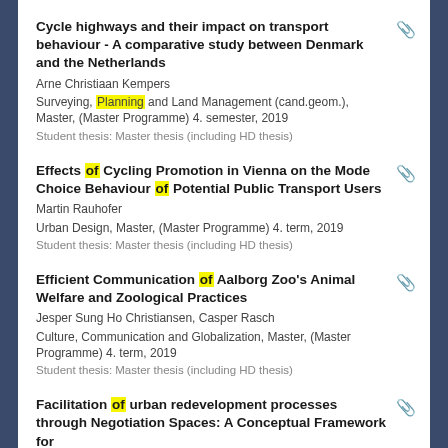Cycle highways and their impact on transport behaviour - A comparative study between Denmark and the Netherlands
Arne Christiaan Kempers
Surveying, Planning and Land Management (cand.geom.), Master, (Master Programme) 4. semester, 2019
Student thesis: Master thesis (including HD thesis)
Effects of Cycling Promotion in Vienna on the Mode Choice Behaviour of Potential Public Transport Users
Martin Rauhofer
Urban Design, Master, (Master Programme) 4. term, 2019
Student thesis: Master thesis (including HD thesis)
Efficient Communication of Aalborg Zoo's Animal Welfare and Zoological Practices
Jesper Sung Ho Christiansen, Casper Rasch
Culture, Communication and Globalization, Master, (Master Programme) 4. term, 2019
Student thesis: Master thesis (including HD thesis)
Facilitation of urban redevelopment processes through Negotiation Spaces: A Conceptual Framework for